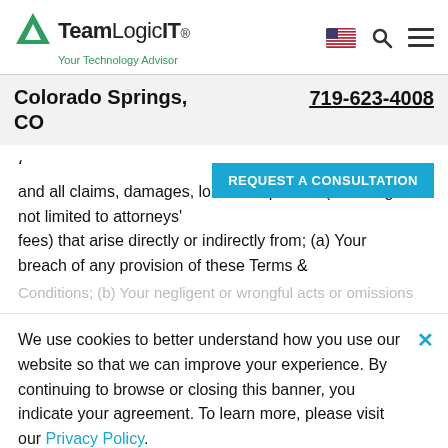[Figure (logo): TeamLogic IT logo with green triangle/arrow icon, bold 'Team' and 'IT' text, tagline 'Your Technology Advisor']
Colorado Springs, CO
719-623-4008
and all claims, damages, lo... expenses (including but not limited to attorneys' fees) that arise directly or indirectly from; (a) Your breach of any provision of these Terms &
[Figure (other): REQUEST A CONSULTATION button (cyan/teal background, white bold text)]
We use cookies to better understand how you use our website so that we can improve your experience. By continuing to browse or closing this banner, you indicate your agreement. To learn more, please visit our Privacy Policy.